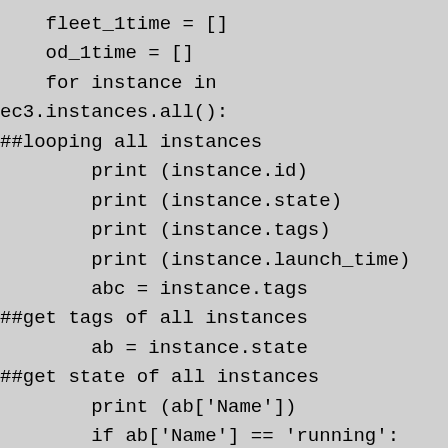fleet_1time = []
    od_1time = []
    for instance in ec3.instances.all():
##looping all instances
        print (instance.id)
        print (instance.state)
        print (instance.tags)
        print (instance.launch_time)
        abc = instance.tags
##get tags of all instances
        ab = instance.state
##get state of all instances
        print (ab['Name'])
        if ab['Name'] == 'running':        ##checks for the instances whose state is running